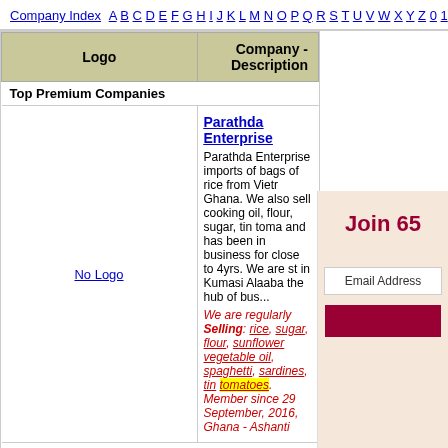Company Index A B C D E F G H I J K L M N O P Q R S T U V W X Y Z 0 1
| Logo | Company - Description |
| --- | --- |
| Top Premium Companies |  |
| No Logo | Parathda Enterprise
Parathda Enterprise imports of bags of rice from Vietnam to Ghana. We also sell cooking oil, flour, sugar, tin toma... and has been in business for close to 4yrs. We are st... in Kumasi Alaaba the hub of bus...
We are regularly Selling: rice, sugar, flour, sunflower vegetable oil, spaghetti, sardines, tin tomatoes.
Member since 29 September, 2016, Ghana - Ashanti |
| [Interfood logo] | Burani Interfood SRL
PRODUCTION AND STOR... selling agent for food produ... firms in all Europe, and sup... extremely competitive price...
We are regularly Selling: o... cheese, fat, legume.
Member since 10 April, 2007, |
Primary Business Type(s): Trading Company
Buy & Sell Offers: 0 - No Current Trade Leads
Products: 0 - No Current Products
Primary Business Type(s): Importer / Exporter
Buy & Sell Offers: 1 Trade Lead posted by Burani Interfood SRL
Products: 0 - No Current Products